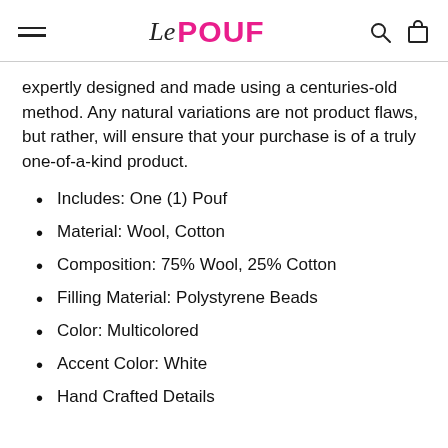Le POUF
expertly designed and made using a centuries-old method. Any natural variations are not product flaws, but rather, will ensure that your purchase is of a truly one-of-a-kind product.
Includes: One (1) Pouf
Material: Wool, Cotton
Composition: 75% Wool, 25% Cotton
Filling Material: Polystyrene Beads
Color: Multicolored
Accent Color: White
Hand Crafted Details